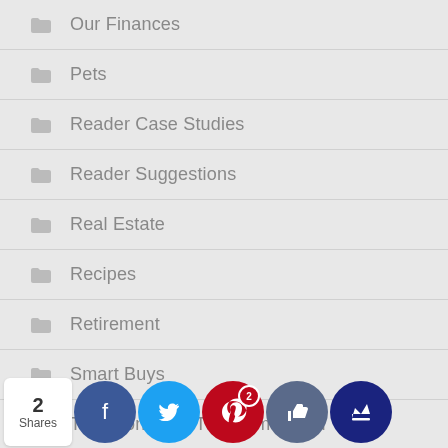Our Finances
Pets
Reader Case Studies
Reader Suggestions
Real Estate
Recipes
Retirement
Smart Buys
This Month On The Homestead
Travel